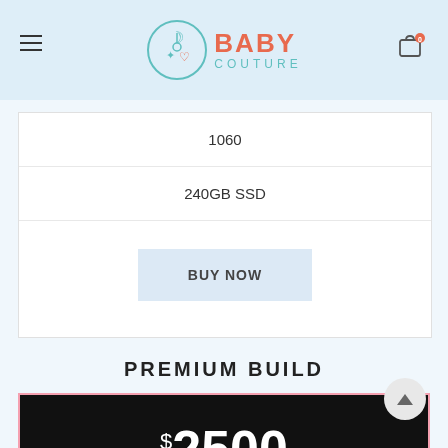Baby Couture
1060
240GB SSD
BUY NOW
PREMIUM BUILD
$2500 per month